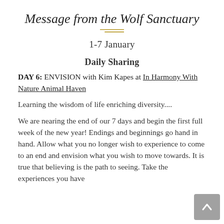Message from the Wolf Sanctuary
1-7 January
Daily Sharing
DAY 6: ENVISION with Kim Kapes at In Harmony With Nature Animal Haven
Learning the wisdom of life enriching diversity....
We are nearing the end of our 7 days and begin the first full week of the new year! Endings and beginnings go hand in hand. Allow what you no longer wish to experience to come to an end and envision what you wish to move towards. It is true that believing is the path to seeing. Take the experiences you have